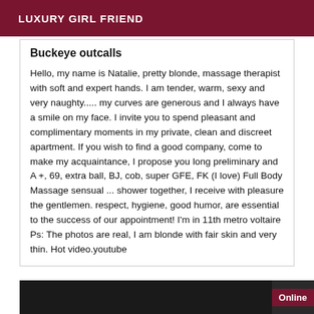LUXURY GIRL FRIEND
Buckeye outcalls
Hello, my name is Natalie, pretty blonde, massage therapist with soft and expert hands. I am tender, warm, sexy and very naughty..... my curves are generous and I always have a smile on my face. I invite you to spend pleasant and complimentary moments in my private, clean and discreet apartment. If you wish to find a good company, come to make my acquaintance, I propose you long preliminary and A +, 69, extra ball, BJ, cob, super GFE, FK (I love) Full Body Massage sensual ... shower together, I receive with pleasure the gentlemen. respect, hygiene, good humor, are essential to the success of our appointment! I'm in 11th metro voltaire Ps: The photos are real, I am blonde with fair skin and very thin. Hot video.youtube
[Figure (photo): Bottom image bar with dark photo and Online badge]